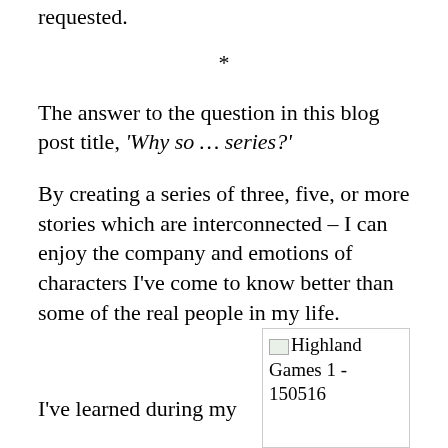requested.
*
The answer to the question in this blog post title, ‘Why so … series?’
By creating a series of three, five, or more stories which are interconnected – I can enjoy the company and emotions of characters I’ve come to know better than some of the real people in my life.
*
I've learned during my
[Figure (other): Image placeholder labeled 'Highland Games 1 - 150516']